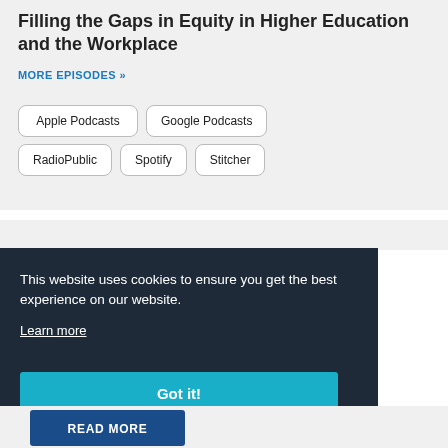Filling the Gaps in Equity in Higher Education and the Workplace
MORE EPISODES »
Apple Podcasts
Google Podcasts
RadioPublic
Spotify
Stitcher
This website uses cookies to ensure you get the best experience on our website.
Learn more
Got it!
READ MORE